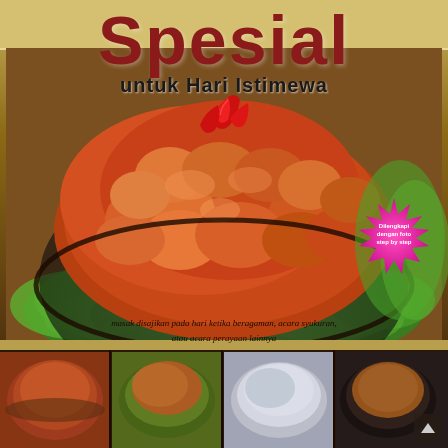Spesial untuk Hari Istimewa
[Figure (photo): Book cover showing a large plate of Indonesian fried/glazed chicken dish served on lettuce leaves, with red chili garnish on top. The food has a rich orange-brown color suggesting a sweet soy or spicy glaze.]
[Figure (photo): Pink starburst badge/seal on the cover with small Indonesian text inside, likely indicating step-by-step photos or instructions.]
masak disajikan pada hari ketika beragaman, acara syukuran, atau acara perayaan lainnya
[Figure (photo): Four thumbnail food photos at the bottom of the cover showing various Indonesian dishes: a spicy curry/stew, a stir-fry dish, a soup/noodle dish, and an orange curry/soup.]